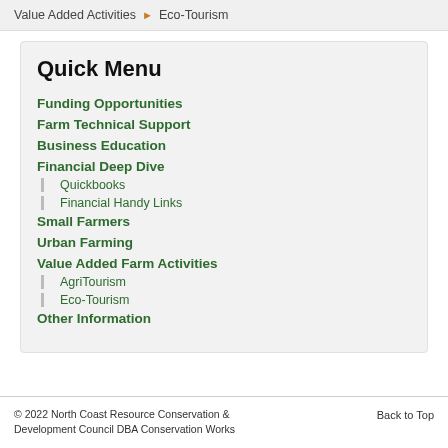Value Added Activities ▶ Eco-Tourism
Quick Menu
Funding Opportunities
Farm Technical Support
Business Education
Financial Deep Dive
Quickbooks
Financial Handy Links
Small Farmers
Urban Farming
Value Added Farm Activities
AgriTourism
Eco-Tourism
Other Information
© 2022 North Coast Resource Conservation & Development Council DBA Conservation Works
Back to Top